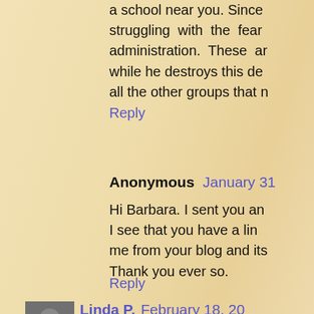a school near you. Since struggling with the fear administration. These ar while he destroys this de all the other groups that n
Reply
Anonymous  January 31
Hi Barbara. I sent you an I see that you have a lin me from your blog and its Thank you ever so.
Reply
[Figure (photo): Small avatar photo of Linda P., a person wearing a dark top, cropped thumbnail.]
Linda P.  February 18, 20
I'm just getting around to I read this one. I do belie